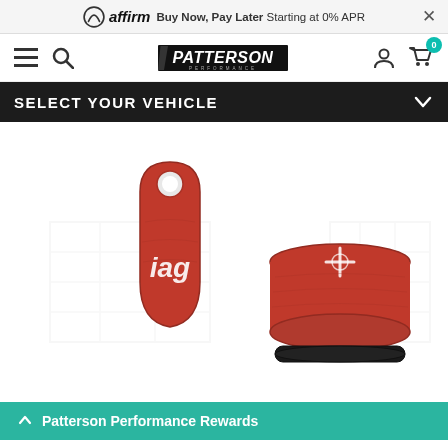affirm  Buy Now, Pay Later Starting at 0% APR  ×
Patterson Performance — navigation bar with menu, search, logo, account, cart (0)
SELECT YOUR VEHICLE
[Figure (photo): Product photo of two red IAG Performance aluminum parts — one teardrop-shaped keychain/plug with IAG logo, one cylindrical cap with crosshair logo and black O-ring — on white background with watermark grid pattern]
Patterson Performance Rewards